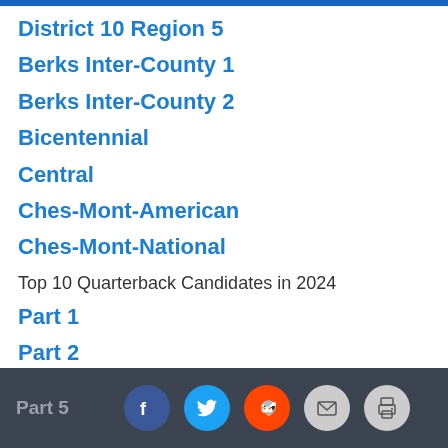District 10 Region 5
Berks Inter-County 1
Berks Inter-County 2
Bicentennial
Central
Ches-Mont-American
Ches-Mont-National
Top 10 Quarterback Candidates in 2024
Part 1
Part 2
Part 3
Part 4
Part 5  [social icons: Facebook, Twitter, Reddit, Email, Print]